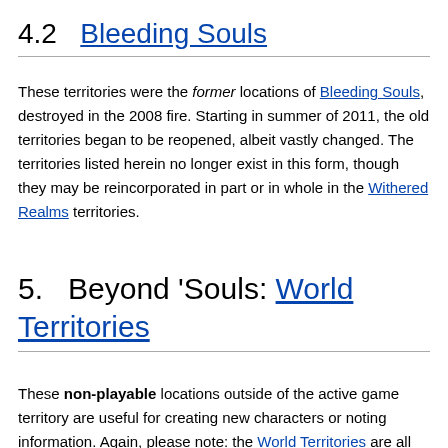4.2  Bleeding Souls
These territories were the former locations of Bleeding Souls, destroyed in the 2008 fire. Starting in summer of 2011, the old territories began to be reopened, albeit vastly changed. The territories listed herein no longer exist in this form, though they may be reincorporated in part or in whole in the Withered Realms territories.
5.  Beyond 'Souls: World Territories
These non-playable locations outside of the active game territory are useful for creating new characters or noting information. Again, please note: the World Territories are all